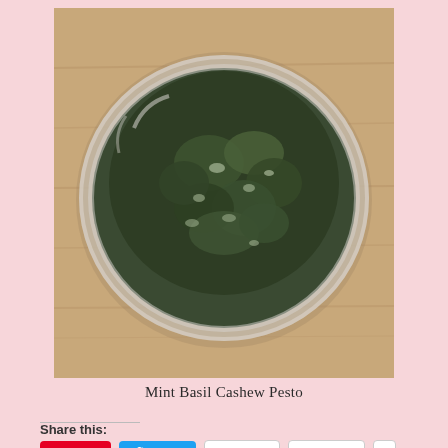[Figure (photo): Overhead view of a glass bowl containing dark green chunky pesto mixture on a wooden cutting board background]
Mint Basil Cashew Pesto
Share this:
Save  Tweet  Email  Pocket  0